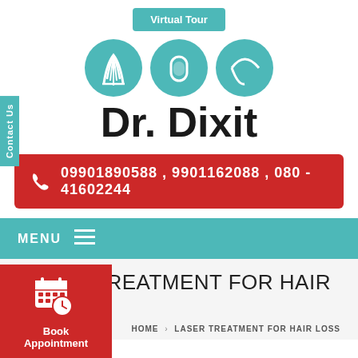[Figure (logo): Virtual Tour button above logo]
Dr. Dixit
09901890588 , 9901162088 , 080 - 41602244
MENU
LASER TREATMENT FOR HAIR LOSS
HOME › LASER TREATMENT FOR HAIR LOSS
[Figure (illustration): Book Appointment red button with calendar and clock icon]